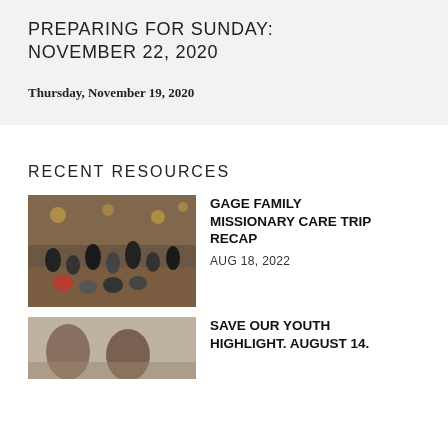PREPARING FOR SUNDAY: NOVEMBER 22, 2020
Thursday, November 19, 2020
RECENT RESOURCES
[Figure (photo): Group photo of the Gage family and others in what appears to be an indoor venue with warm lighting]
GAGE FAMILY MISSIONARY CARE TRIP RECAP
AUG 18, 2022
[Figure (photo): Photo of people, partially visible at the bottom of the page]
SAVE OUR YOUTH HIGHLIGHT. AUGUST 14.